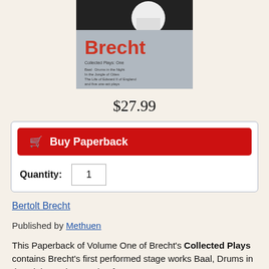[Figure (photo): Book cover of Brecht Collected Plays One, showing title 'Brecht' in red text on a grey background with a black and white image at the top]
$27.99
Buy Paperback
Quantity: 1
Bertolt Brecht
Published by Methuen
This Paperback of Volume One of Brecht's Collected Plays contains Brecht's first performed stage works Baal, Drums in the Night, In the Jungle of